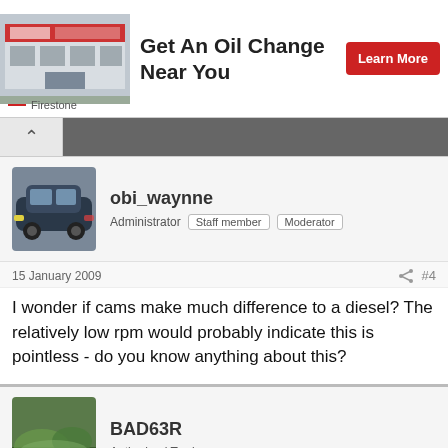[Figure (infographic): Firestone advertisement banner: car service building image, heading 'Get An Oil Change Near You', and a red 'Learn More' button with Firestone branding.]
obi_waynne
Administrator   Staff member   Moderator
15 January 2009   #4
I wonder if cams make much difference to a diesel? The relatively low rpm would probably indicate this is pointless - do you know anything about this?
BAD63R
Authorised Trader
15 January 2009   #5
I thought the M40 6 speed was used on the Vauxhall Monaro???